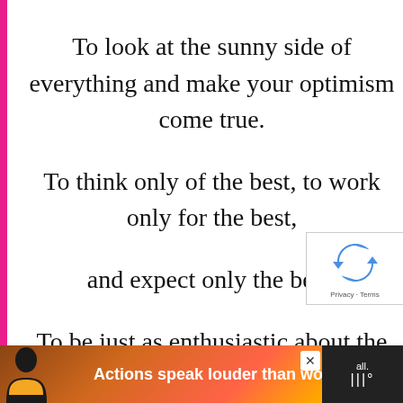To look at the sunny side of everything and make your optimism come true. To think only of the best, to work only for the best, and expect only the best. To be just as enthusiastic about the success of others as you are about your own. To forget the mistakes of the past and press on the greater achievements of the future.
[Figure (screenshot): Advertisement banner at bottom: person silhouette on warm gradient background with text 'Actions speak louder than words.']